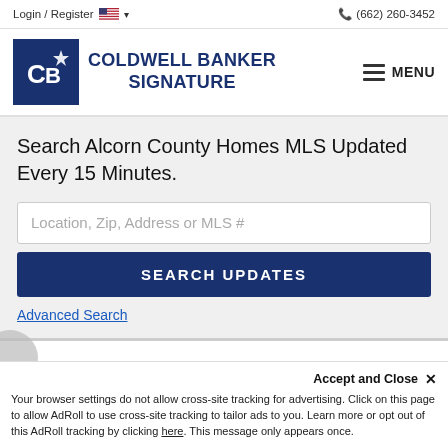Login / Register  (662) 260-3452
[Figure (logo): Coldwell Banker Signature logo with dark blue CB monogram box and brand name text]
Search Alcorn County Homes MLS Updated Every 15 Minutes.
Location, Zip, Address or MLS #
SEARCH UPDATES
Advanced Search
Accept and Close ✕
Your browser settings do not allow cross-site tracking for advertising. Click on this page to allow AdRoll to use cross-site tracking to tailor ads to you. Learn more or opt out of this AdRoll tracking by clicking here. This message only appears once.